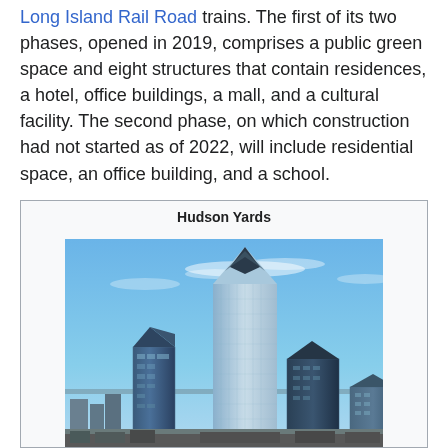Long Island Rail Road trains. The first of its two phases, opened in 2019, comprises a public green space and eight structures that contain residences, a hotel, office buildings, a mall, and a cultural facility. The second phase, on which construction had not started as of 2022, will include residential space, an office building, and a school.
Hudson Yards
[Figure (photo): Photograph of the Hudson Yards development in New York City showing multiple skyscrapers against a blue sky, including the distinctive 30 Hudson Yards tower with a pointed crown and neighboring glass towers.]